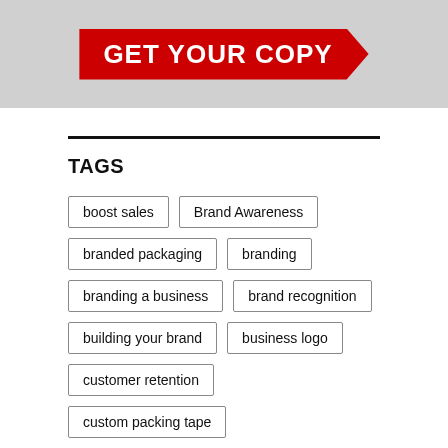[Figure (illustration): Red arrow banner with bold white text reading GET YOUR COPY on a grey background with paper/book corners visible]
TAGS
boost sales
Brand Awareness
branded packaging
branding
branding a business
brand recognition
building your brand
business logo
customer retention
custom packing tape
custom printed tape